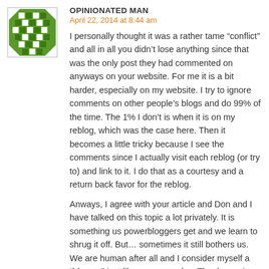[Figure (illustration): Green diamond/checkerboard pattern avatar icon for user 'Opinionated Man']
OPINIONATED MAN
April 22, 2014 at 8:44 am
I personally thought it was a rather tame “conflict” and all in all you didn’t lose anything since that was the only post they had commented on anyways on your website. For me it is a bit harder, especially on my website. I try to ignore comments on other people’s blogs and do 99% of the time. The 1% I don’t is when it is on my reblog, which was the case here. Then it becomes a little tricky because I see the comments since I actually visit each reblog (or try to) and link to it. I do that as a courtesy and a return back favor for the reblog.
Anways, I agree with your article and Don and I have talked on this topic a lot privately. It is something us powerbloggers get and we learn to shrug it off. But… sometimes it still bothers us. We are human after all and I consider myself a “blogger” just like everyone else. Thanks again for